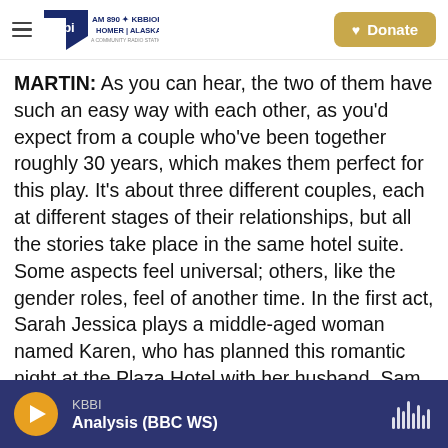[Figure (logo): KBBI AM 890 radio station logo with hamburger menu icon and Donate button]
MARTIN: As you can hear, the two of them have such an easy way with each other, as you'd expect from a couple who've been together roughly 30 years, which makes them perfect for this play. It's about three different couples, each at different stages of their relationships, but all the stories take place in the same hotel suite. Some aspects feel universal; others, like the gender roles, feel of another time. In the first act, Sarah Jessica plays a middle-aged woman named Karen, who has planned this romantic night at the Plaza Hotel with her husband, Sam. Then she finds out he's been having an affair, and she gets desperate.
[Figure (screenshot): Audio player bar showing KBBI station playing Analysis (BBC WS) with play button and audio waveform icon]